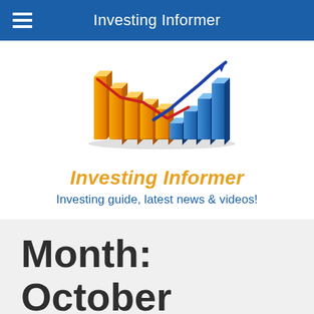Investing Informer
[Figure (logo): Investing Informer logo with orange and blue 3D bar charts and red/blue line charts rising upward]
Investing Informer
Investing guide, latest news & videos!
Month: October 2020